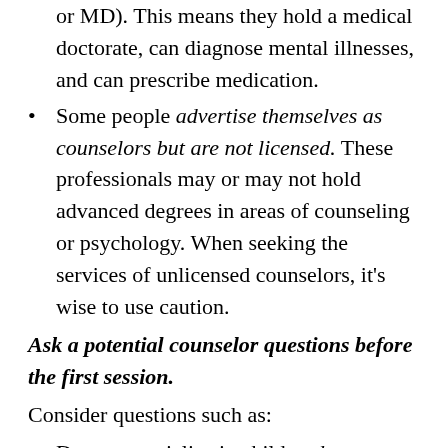or MD). This means they hold a medical doctorate, can diagnose mental illnesses, and can prescribe medication.
Some people advertise themselves as counselors but are not licensed. These professionals may or may not hold advanced degrees in areas of counseling or psychology. When seeking the services of unlicensed counselors, it's wise to use caution.
Ask a potential counselor questions before the first session.
Consider questions such as:
Do you specialize in child and adolescent